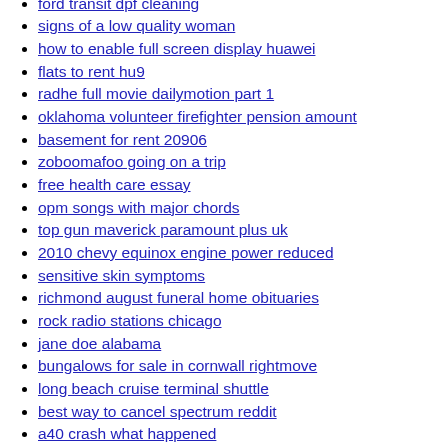ford transit dpf cleaning
signs of a low quality woman
how to enable full screen display huawei
flats to rent hu9
radhe full movie dailymotion part 1
oklahoma volunteer firefighter pension amount
basement for rent 20906
zoboomafoo going on a trip
free health care essay
opm songs with major chords
top gun maverick paramount plus uk
2010 chevy equinox engine power reduced
sensitive skin symptoms
richmond august funeral home obituaries
rock radio stations chicago
jane doe alabama
bungalows for sale in cornwall rightmove
long beach cruise terminal shuttle
best way to cancel spectrum reddit
a40 crash what happened
christopher sign autopsy
alliance property management bozeman
federal employee benefits website
mini myotonic goats
track car delivery by vin mazda